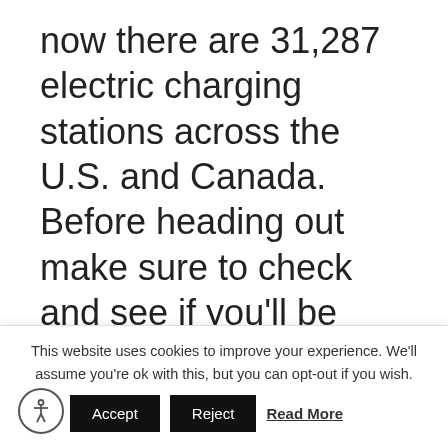now there are 31,287 electric charging stations across the U.S. and Canada. Before heading out make sure to check and see if you'll be stopping in an area that has one.
Charge at Night If You Have a Time-of-Use Electric Plan
This website uses cookies to improve your experience. We'll assume you're ok with this, but you can opt-out if you wish.